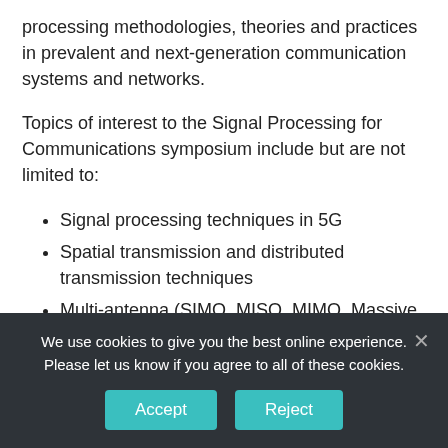processing methodologies, theories and practices in prevalent and next-generation communication systems and networks.
Topics of interest to the Signal Processing for Communications symposium include but are not limited to:
Signal processing techniques in 5G
Spatial transmission and distributed transmission techniques
Multi-antenna (SIMO, MISO, MIMO, Massive MIMO), multi-user, centralised/distrrибuted multi-mode systems
We use cookies to give you the best online experience. Please let us know if you agree to all of these cookies.